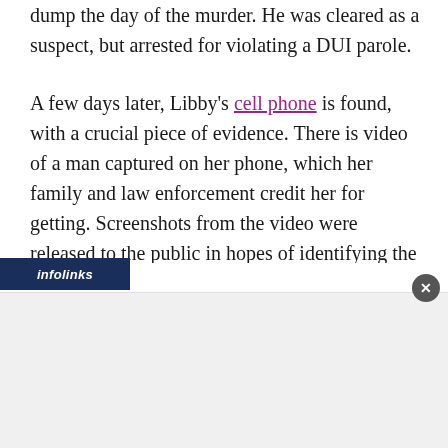dump the day of the murder. He was cleared as a suspect, but arrested for violating a DUI parole.
A few days later, Libby's cell phone is found, with a crucial piece of evidence. There is video of a man captured on her phone, which her family and law enforcement credit her for getting. Screenshots from the video were released to the public in hopes of identifying the man.
On February 22, days after the funeral, another piece of evidence was released. Investigators found a recording on the phone with a man saying the words 'down the hill.' This led to them releasing it to the public in hopes that one could recognize the voice. Sadly, this did not